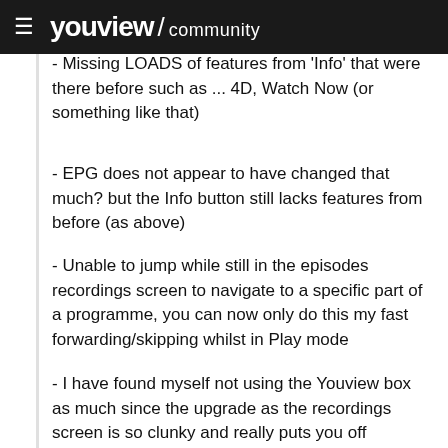youview / community
- Missing LOADS of features from 'Info' that were there before such as ... 4D, Watch Now (or something like that)
- EPG does not appear to have changed that much? but the Info button still lacks features from before (as above)
- Unable to jump while still in the episodes recordings screen to navigate to a specific part of a programme, you can now only do this my fast forwarding/skipping whilst in Play mode
- I have found myself not using the Youview box as much since the upgrade as the recordings screen is so clunky and really puts you off
I have not come across one person who thinks this upgrade is a major success or even 'Good' or 'OK', I have heard....'nightmare', 'slow and clunky' or 'I am getting a different box'. These complaints are all because of the Now/Next and the Recordings/MyTV screens